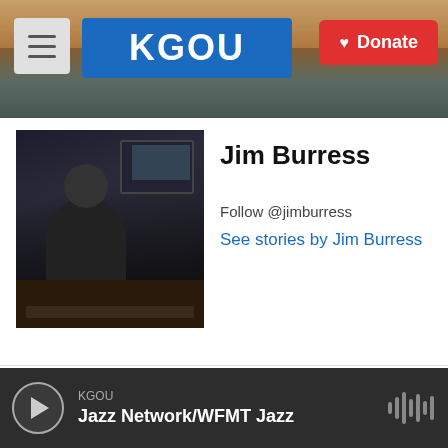KGOU | Donate
Jim Burress
Follow @jimburress
See stories by Jim Burress
[Figure (photo): Headshot of Jim Burress at a radio station console]
KGOU Jazz Network/WFMT Jazz